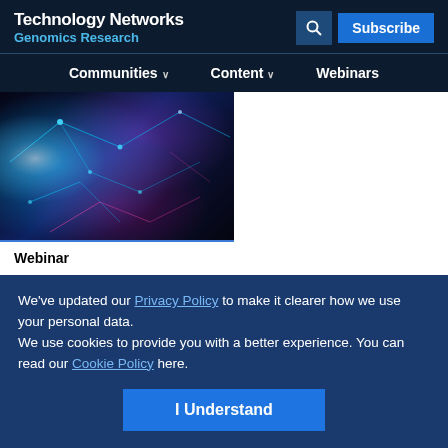Technology Networks Genomics Research
[Figure (screenshot): Website navigation with Communities, Content, and Webinars menu items]
[Figure (illustration): Abstract digital network DNA visualization with blue and pink glowing lines on dark background]
Webinar
We've updated our Privacy Policy to make it clearer how we use your personal data.
We use cookies to provide you with a better experience. You can read our Cookie Policy here.
I Understand
Advertisement
[Figure (illustration): Bio-Rad advertisement banner: Automate with confidence. BIO-RAD logo on green background]